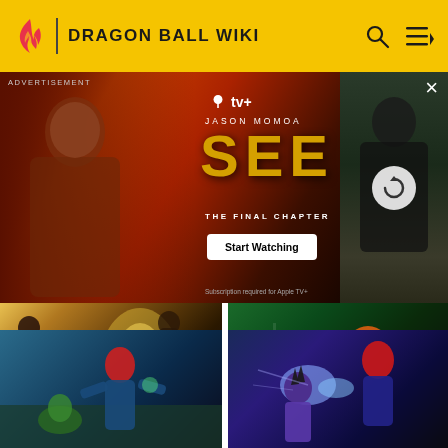DRAGON BALL WIKI
[Figure (screenshot): Apple TV+ advertisement for 'SEE: The Final Chapter' featuring Jason Momoa with Start Watching button and loading image on right side]
[Figure (screenshot): Future Warrior in Time Patroller Suit fighting 17 & 18 with SSJ Vegeta - Dragon Ball game screenshot]
[Figure (screenshot): Future Warrior in Time Patroller Suit fighting Guldo while Krillin retrieves the Dragon Balls on Namek - Dragon Ball game screenshot]
Future Warrior in Time Patroller Suit fighting 17 & 18 with SSJ Vegeta
Future Warrior in Time Patroller Suit fighting Guldo while Krillin retrieves the Dragon Balls on Namek
[Figure (screenshot): Future Warrior in Time Patroller Suit - Dragon Ball game screenshot bottom left]
[Figure (screenshot): Dragon Ball game screenshot bottom right]
Future Warrior in Time Patroller Suit